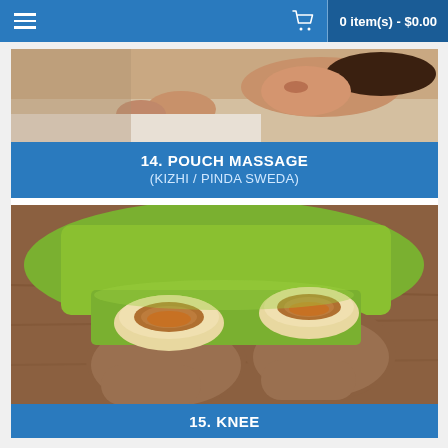0 item(s) - $0.00
14. POUCH MASSAGE (KIZHI / PINDA SWEDA)
[Figure (photo): Woman lying face down receiving a back massage treatment]
[Figure (photo): Knee basti treatment showing two dough rings filled with warm oil placed on both knees covered with green towel]
15. KNEE